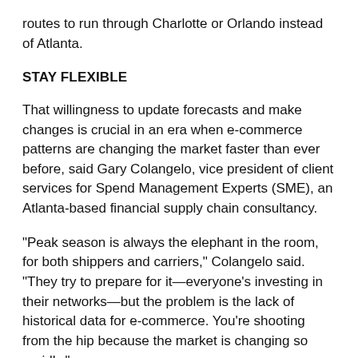routes to run through Charlotte or Orlando instead of Atlanta.
STAY FLEXIBLE
That willingness to update forecasts and make changes is crucial in an era when e-commerce patterns are changing the market faster than ever before, said Gary Colangelo, vice president of client services for Spend Management Experts (SME), an Atlanta-based financial supply chain consultancy.
"Peak season is always the elephant in the room, for both shippers and carriers," Colangelo said. "They try to prepare for it—everyone's investing in their networks—but the problem is the lack of historical data for e-commerce. You're shooting from the hip because the market is changing so rapidly."
Some companies deal with demand fluctuations by renting